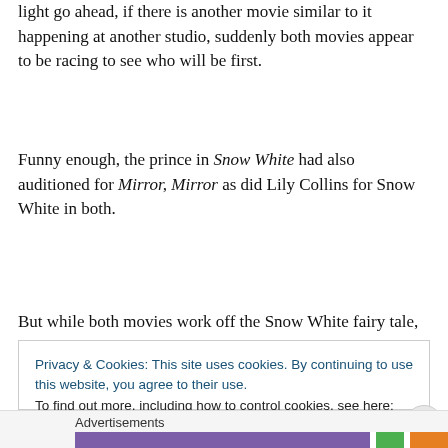light go ahead, if there is another movie similar to it happening at another studio, suddenly both movies appear to be racing to see who will be first.
Funny enough, the prince in Snow White had also auditioned for Mirror, Mirror as did Lily Collins for Snow White in both.
But while both movies work off the Snow White fairy tale,
Privacy & Cookies: This site uses cookies. By continuing to use this website, you agree to their use.
To find out more, including how to control cookies, see here: Cookie Policy
Close and accept
Advertisements